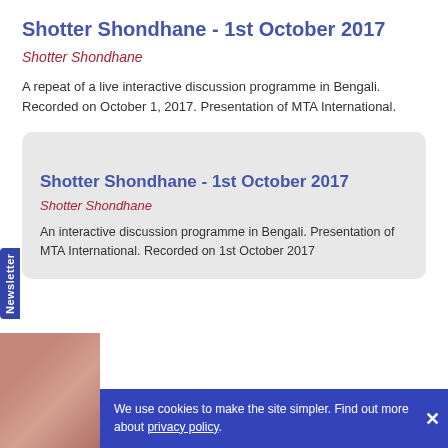Shotter Shondhane - 1st October 2017
Shotter Shondhane
A repeat of a live interactive discussion programme in Bengali. Recorded on October 1, 2017. Presentation of MTA International.
Shotter Shondhane - 1st October 2017
Shotter Shondhane
An interactive discussion programme in Bengali. Presentation of MTA International. Recorded on 1st October 2017
We use cookies to make the site simpler. Find out more about privacy policy.